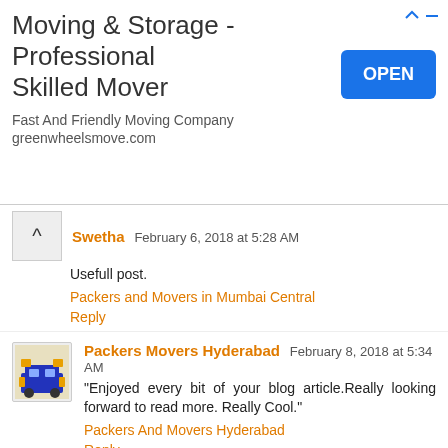[Figure (screenshot): Advertisement banner for Moving & Storage - Professional Skilled Mover with OPEN button]
Swetha February 6, 2018 at 5:28 AM
Usefull post.
Packers and Movers in Mumbai Central
Reply
Packers Movers Hyderabad February 8, 2018 at 5:34 AM
"Enjoyed every bit of your blog article.Really looking forward to read more. Really Cool."
Packers And Movers Hyderabad
Reply
Packers Movers Hyderabad February 8, 2018 at 5:34 AM
Packers And Movers Hyderabad to Bangalore